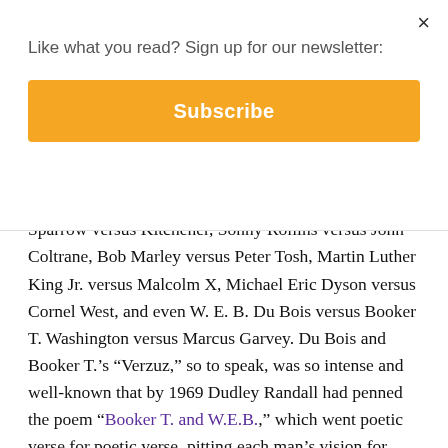Like what you read? Sign up for our newsletter:
Subscribe
hand, became more interested in Verzuz for its historical and contemporary sociopolitical import: Sparrow versus Kitchener, Sonny Rollins versus John Coltrane, Bob Marley versus Peter Tosh, Martin Luther King Jr. versus Malcolm X, Michael Eric Dyson versus Cornel West, and even W. E. B. Du Bois versus Booker T. Washington versus Marcus Garvey. Du Bois and Booker T.'s “Verzuz,” so to speak, was so intense and well-known that by 1969 Dudley Randall had penned the poem “Booker T. and W.E.B.,” which went poetic verse for poetic verse, pitting each man’s vision for uplift against the other’s.
As the summer of 2020’s versus roster grew (Central Park Karen versus Black birdwatcher, Permit Karen versus Black homeowners, white supremacists versus the liberal white media), so too did my consideration of Verzuz as a